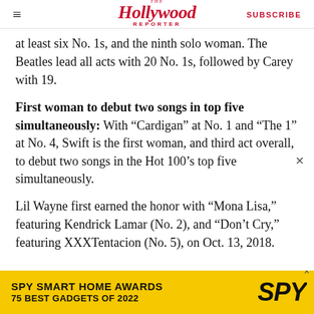The Hollywood Reporter | SUBSCRIBE
at least six No. 1s, and the ninth solo woman. The Beatles lead all acts with 20 No. 1s, followed by Carey with 19.
First woman to debut two songs in top five simultaneously: With “Cardigan” at No. 1 and “The 1” at No. 4, Swift is the first woman, and third act overall, to debut two songs in the Hot 100’s top five simultaneously.
Lil Wayne first earned the honor with “Mona Lisa,” featuring Kendrick Lamar (No. 2), and “Don’t Cry,” featuring XXXTentacion (No. 5), on Oct. 13, 2018.
[Figure (other): SPY Smart Home Awards advertisement banner: yellow background with bold black text reading 'SPY SMART HOME AWARDS / 75 BEST GADGETS OF 2022' and SPY logo in black italic font on the right.]